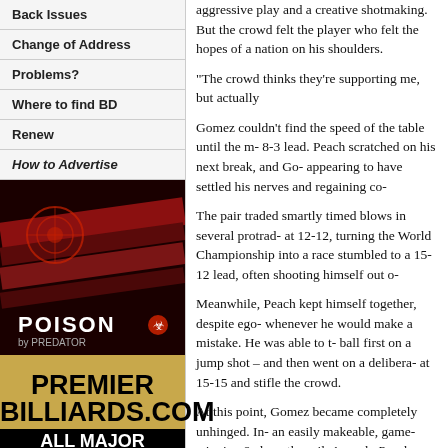Back Issues
Change of Address
Problems?
Where to find BD
Renew
How to Advertise
[Figure (photo): POISON by PREDATOR advertisement showing a red billiards cue with dark background]
[Figure (logo): PREMIER BILLIARDS.COM ALL MAJOR BRANDS advertisement with gold/black background]
[Figure (logo): Premier Billiards logo with stylized P and B letters]
aggressive play and a creative shotmaking. But the crowd felt the hopes of a nation on his shoulders.
“The crowd thinks they’re supporting me, but actually
Gomez couldn’t find the speed of the table until the match reached 8-3 lead. Peach scratched on his next break, and Gomez, appearing to have settled his nerves and regaining co-
The pair traded smartly timed blows in several protracted racks at 12-12, turning the World Championship into a race stumbled to a 15-12 lead, often shooting himself out o-
Meanwhile, Peach kept himself together, despite ego- whenever he would make a mistake. He was able to t- ball first on a jump shot – and then went on a delibera- at 15-15 and stifle the crowd.
At this point, Gomez became completely unhinged. In- an easily makeable, game-winning 9 along the rail. A- rack. Peach nailed a cross-side bank on the 1 ball an- in his chair. Peach shot his arms above his head, and fellow Brits in the front row who had rooted him on thr-
“It’s unbelievable; it’s like a dream,” Peach said. “My g- trying to take the shots as they came.”
Gomez will take home $40,000 for second place, as w-
“I was almost there,” a disconsolate Gomez said. “Th- depressed.”